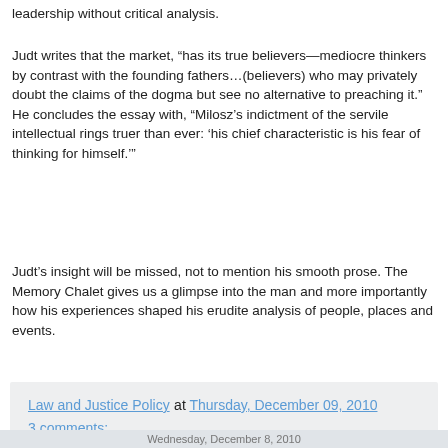leadership without critical analysis.
Judt writes that the market, “has its true believers—mediocre thinkers by contrast with the founding fathers…(believers) who may privately doubt the claims of the dogma but see no alternative to preaching it.” He concludes the essay with, “Milosz’s indictment of the servile intellectual rings truer than ever: ‘his chief characteristic is his fear of thinking for himself.’”
Judt’s insight will be missed, not to mention his smooth prose. The Memory Chalet gives us a glimpse into the man and more importantly how his experiences shaped his erudite analysis of people, places and events.
Law and Justice Policy at Thursday, December 09, 2010
3 comments:
Share
Wednesday, December 8, 2010